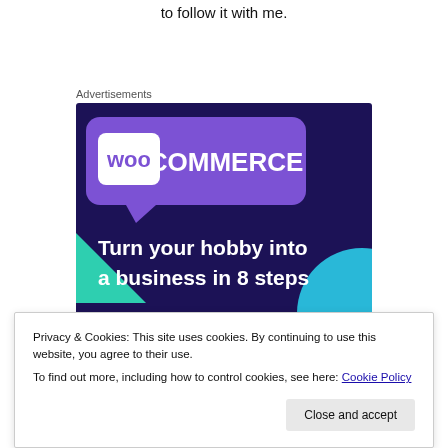to follow it with me.
Advertisements
[Figure (illustration): WooCommerce advertisement banner with dark purple background. Shows WooCommerce logo at top with purple speech bubble, green triangle shape on left, blue circle on right bottom. Text reads: Turn your hobby into a business in 8 steps]
Privacy & Cookies: This site uses cookies. By continuing to use this website, you agree to their use.
To find out more, including how to control cookies, see here: Cookie Policy
Close and accept